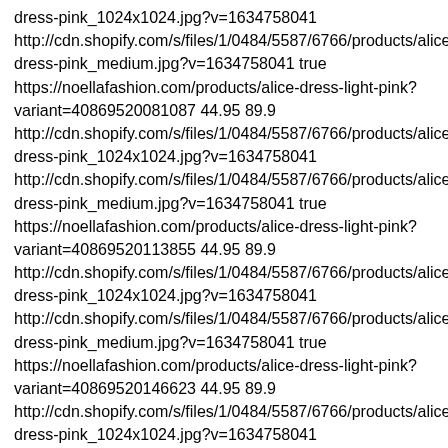dress-pink_1024x1024.jpg?v=1634758041 http://cdn.shopify.com/s/files/1/0484/5587/6766/products/alice-dress-pink_medium.jpg?v=1634758041 true https://noellafashion.com/products/alice-dress-light-pink?variant=40869520081087 44.95 89.9 http://cdn.shopify.com/s/files/1/0484/5587/6766/products/alice-dress-pink_1024x1024.jpg?v=1634758041 http://cdn.shopify.com/s/files/1/0484/5587/6766/products/alice-dress-pink_medium.jpg?v=1634758041 true https://noellafashion.com/products/alice-dress-light-pink?variant=40869520113855 44.95 89.9 http://cdn.shopify.com/s/files/1/0484/5587/6766/products/alice-dress-pink_1024x1024.jpg?v=1634758041 http://cdn.shopify.com/s/files/1/0484/5587/6766/products/alice-dress-pink_medium.jpg?v=1634758041 true https://noellafashion.com/products/alice-dress-light-pink?variant=40869520146623 44.95 89.9 http://cdn.shopify.com/s/files/1/0484/5587/6766/products/alice-dress-pink_1024x1024.jpg?v=1634758041 http://cdn.shopify.com/s/files/1/0484/5587/6766/products/alice-dress-pink_medium.jpg?v=1634758041 true https://noellafashion.com/products/alita-tote-camel-offtwhite?variant=40870010880191 34.95 69.9 http://cdn.shopify.com/s/files/1/0484/5587/6766/products/alita-tote-bag_68da85d1-8408-4169-b273-